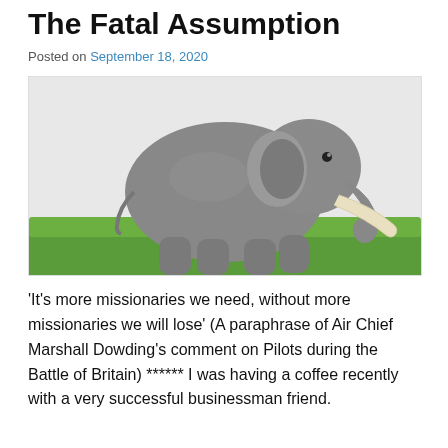The Fatal Assumption
Posted on September 18, 2020
[Figure (photo): A large African elephant with long tusks walking on green grass, photographed from the side against a light sky background.]
'It's more missionaries we need, without more missionaries we will lose' (A paraphrase of Air Chief Marshall Dowding's comment on Pilots during the Battle of Britain) ****** I was having a coffee recently with a very successful businessman friend.